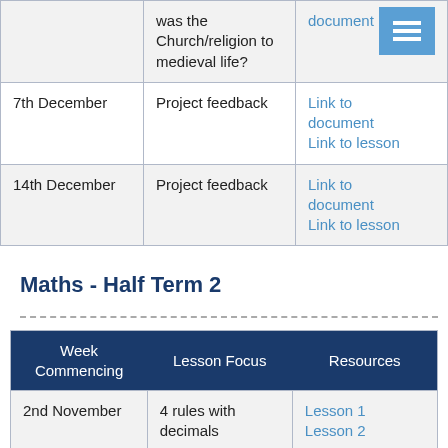| Week Commencing | Lesson Focus | Resources |
| --- | --- | --- |
|  | was the Church/religion to medieval life? | document [menu icon] |
| 7th December | Project feedback | Link to document
Link to lesson |
| 14th December | Project feedback | Link to document
Link to lesson |
Maths - Half Term 2
| Week Commencing | Lesson Focus | Resources |
| --- | --- | --- |
| 2nd November | 4 rules with decimals | Lesson 1
Lesson 2 |
|  |  |  |